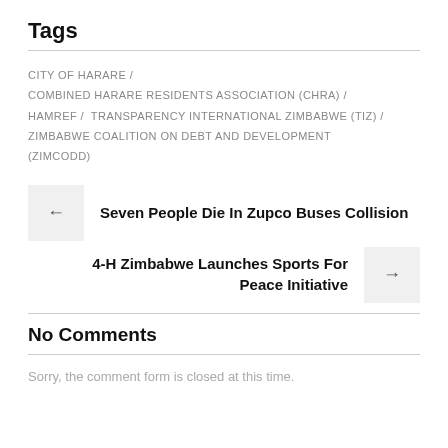Tags
CITY OF HARARE /
COMBINED HARARE RESIDENTS ASSOCIATION (CHRA) /
HAMREF / TRANSPARENCY INTERNATIONAL ZIMBABWE (TIZ) / ZIMBABWE COALITION ON DEBT AND DEVELOPMENT (ZIMCODD)
← Seven People Die In Zupco Buses Collision
4-H Zimbabwe Launches Sports For Peace Initiative →
No Comments
Sorry, the comment form is closed at this time.